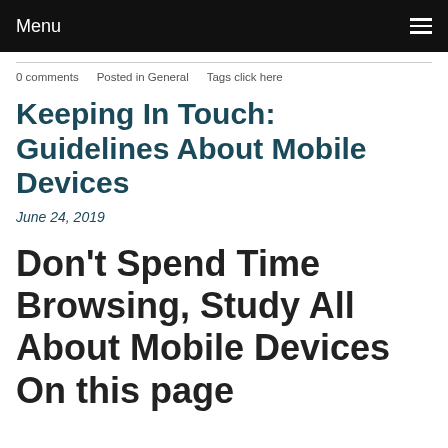Menu
0 comments   Posted in General   Tags click here
Keeping In Touch: Guidelines About Mobile Devices
June 24, 2019
Don't Spend Time Browsing, Study All About Mobile Devices On this page